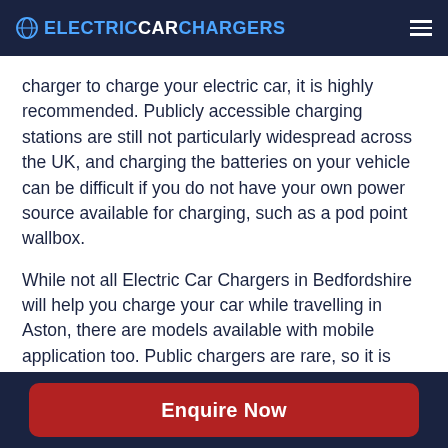ELECTRICCARCHARGERS
charger to charge your electric car, it is highly recommended. Publicly accessible charging stations are still not particularly widespread across the UK, and charging the batteries on your vehicle can be difficult if you do not have your own power source available for charging, such as a pod point wallbox.
While not all Electric Car Chargers in Bedfordshire will help you charge your car while travelling in Aston, there are models available with mobile application too. Public chargers are rare, so it is important to make
Enquire Now